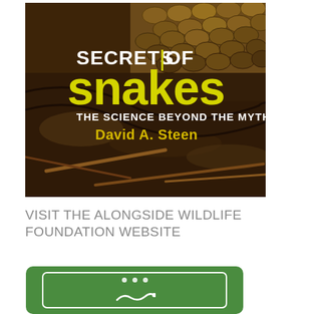[Figure (illustration): Book cover of 'Secrets of Snakes: The Science Beyond the Myths' by David A. Steen. Shows close-up of snake scales with brown earth tones. Title 'SECRETS OF' in white bold text, 'snakes' in large yellow text, subtitle 'THE SCIENCE BEYOND THE MYTHS' in white, author 'David A. Steen' in yellow.]
VISIT THE ALONGSIDE WILDLIFE FOUNDATION WEBSITE
[Figure (logo): Green rounded rectangle logo with white inner border and white dots (ellipsis) at top, partially visible at bottom of page.]